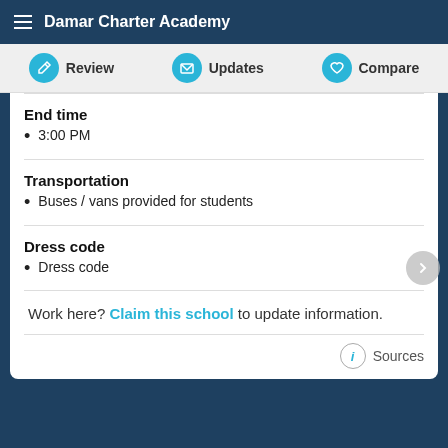Damar Charter Academy
Review
Updates
Compare
End time
3:00 PM
Transportation
Buses / vans provided for students
Dress code
Dress code
Work here? Claim this school to update information.
Sources